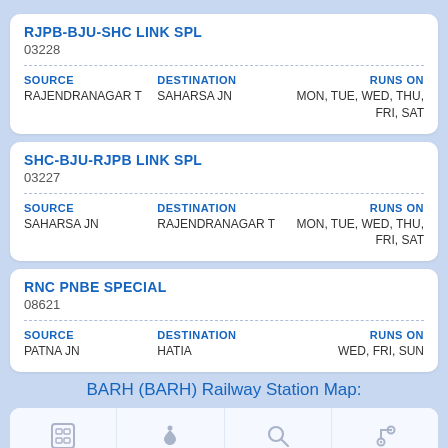RJPB-BJU-SHC LINK SPL
03228
| SOURCE | DESTINATION | RUNS ON |
| --- | --- | --- |
| RAJENDRANAGAR T | SAHARSA JN | MON, TUE, WED, THU, FRI, SAT |
SHC-BJU-RJPB LINK SPL
03227
| SOURCE | DESTINATION | RUNS ON |
| --- | --- | --- |
| SAHARSA JN | RAJENDRANAGAR T | MON, TUE, WED, THU, FRI, SAT |
RNC PNBE SPECIAL
08621
| SOURCE | DESTINATION | RUNS ON |
| --- | --- | --- |
| PATNA JN | HATIA | WED, FRI, SUN |
BARH (BARH) Railway Station Map:
[Figure (screenshot): Bottom navigation bar with icons: PNR, LIVE, SEARCH, TRIPS]